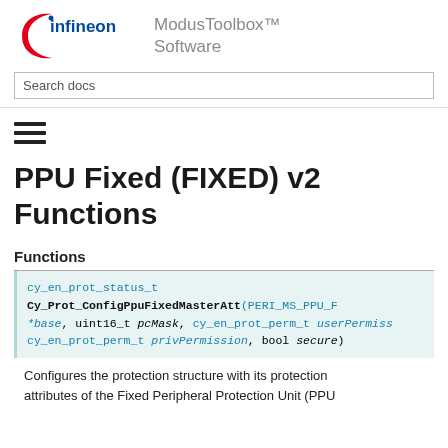[Figure (logo): Infineon logo with red arc and blue text]
ModusToolbox™ Software
Search docs
[Figure (other): Hamburger menu icon (three horizontal lines)]
PPU Fixed (FIXED) v2 Functions
Functions
cy_en_prot_status_t Cy_Prot_ConfigPpuFixedMasterAtt(PERI_MS_PPU_F *base, uint16_t pcMask, cy_en_prot_perm_t userPermission, cy_en_prot_perm_t privPermission, bool secure)
Configures the protection structure with its protection attributes of the Fixed Peripheral Protection Unit (PPU